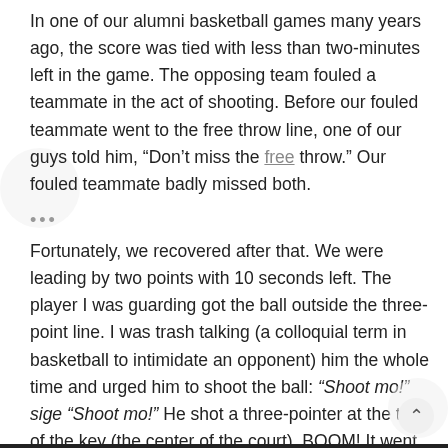In one of our alumni basketball games many years ago, the score was tied with less than two-minutes left in the game. The opposing team fouled a teammate in the act of shooting. Before our fouled teammate went to the free throw line, one of our guys told him, “Don’t miss the free throw.” Our fouled teammate badly missed both.
Fortunately, we recovered after that. We were leading by two points with 10 seconds left. The player I was guarding got the ball outside the three-point line. I was trash talking (a colloquial term in basketball to intimidate an opponent) him the whole time and urged him to shoot the ball: “Shoot mo!” sige “Shoot mo!” He shot a three-pointer at the top of the key (the center of the court). BOOM! It went in with no time left in the shot clock. In my face! OUCH! We lost by one point.